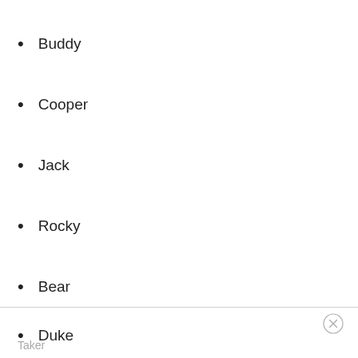Buddy
Cooper
Jack
Rocky
Bear
Duke